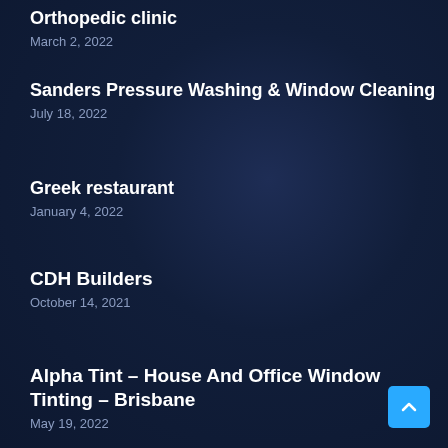Orthopedic clinic
March 2, 2022
Sanders Pressure Washing & Window Cleaning
July 18, 2022
Greek restaurant
January 4, 2022
CDH Builders
October 14, 2021
Alpha Tint – House And Office Window Tinting – Brisbane
May 19, 2022